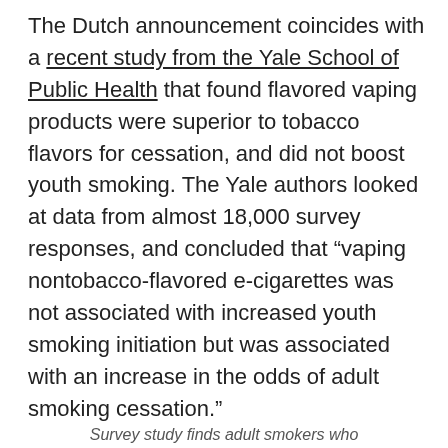The Dutch announcement coincides with a recent study from the Yale School of Public Health that found flavored vaping products were superior to tobacco flavors for cessation, and did not boost youth smoking. The Yale authors looked at data from almost 18,000 survey responses, and concluded that “vaping nontobacco-flavored e-cigarettes was not associated with increased youth smoking initiation but was associated with an increase in the odds of adult smoking cessation.”
Survey study finds adult smokers who